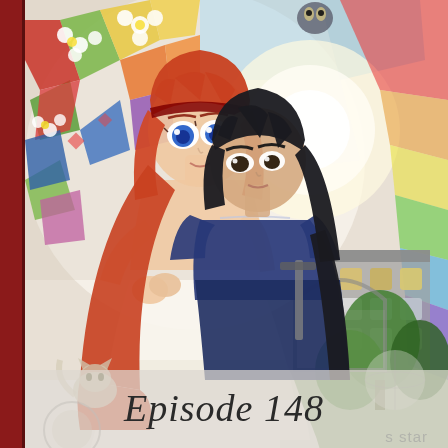[Figure (illustration): Anime illustration showing two characters: a young woman with red/orange hair and blue eyes wearing a white dress, being carried or embraced by a taller young man with dark hair wearing a dark blue uniform/outfit. The background features colorful stained glass patterns with flowers, and a garden scene on the right side. A small cat is visible in the lower left area. The scene has a romantic, fantasy atmosphere.]
Episode 148